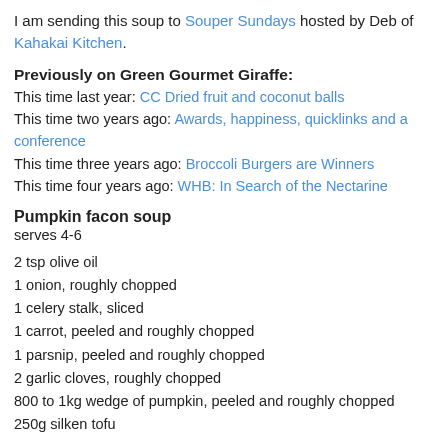I am sending this soup to Souper Sundays hosted by Deb of Kahakai Kitchen.
Previously on Green Gourmet Giraffe:
This time last year: CC Dried fruit and coconut balls
This time two years ago: Awards, happiness, quicklinks and a conference
This time three years ago: Broccoli Burgers are Winners
This time four years ago: WHB: In Search of the Nectarine
Pumpkin facon soup
serves 4-6
2 tsp olive oil
1 onion, roughly chopped
1 celery stalk, sliced
1 carrot, peeled and roughly chopped
1 parsnip, peeled and roughly chopped
2 garlic cloves, roughly chopped
800 to 1kg wedge of pumpkin, peeled and roughly chopped
250g silken tofu